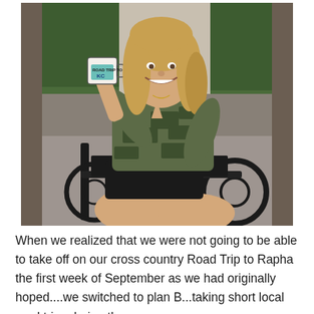[Figure (photo): A young woman with long blonde hair, wearing a camouflage t-shirt and black shorts, sitting outdoors in a wheelchair. She is smiling and holding up a white mug with 'Road Trip to KC' text on it. Green bushes and a driveway are visible in the background.]
When we realized that we were not going to be able to take off on our cross country Road Trip to Rapha the first week of September as we had originally hoped....we switched to plan B...taking short local road trips during the